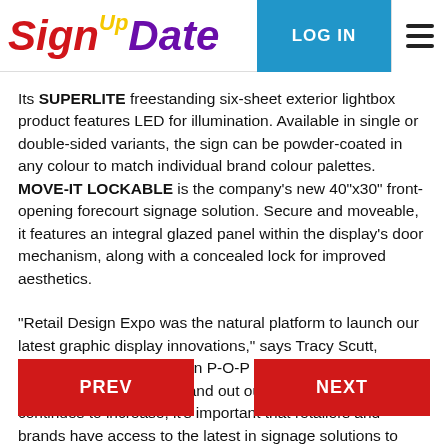SignUpDate | LOG IN | [menu]
Its SUPERLITE freestanding six-sheet exterior lightbox product features LED for illumination. Available in single or double-sided variants, the sign can be powder-coated in any colour to match individual brand colour palettes. MOVE-IT LOCKABLE is the company's new 40"x30" front-opening forecourt signage solution. Secure and moveable, it features an integral glazed panel within the display's door mechanism, along with a concealed lock for improved aesthetics.
"Retail Design Expo was the natural platform to launch our latest graphic display innovations," says Tracy Scutt, managing director of arken P-O-P International. "As the challenge of achieving stand out out-of-store and in-store continues to increase, it's important that retailers and brands have access to the latest in signage solutions to grab shoppers' attention, engage them and increase sales."
PREV | NEXT